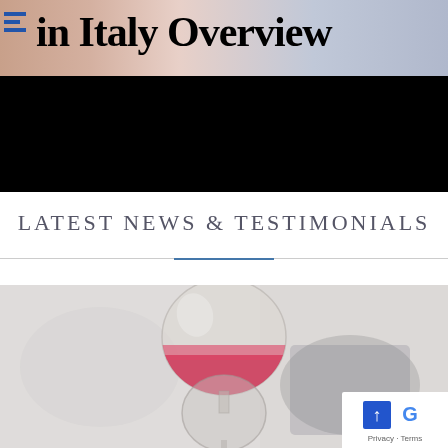[Figure (screenshot): Website banner header showing 'in Italy Overview' text in bold serif font over a blurred background of people, with a black bar below and a hamburger menu icon on the left]
LATEST NEWS & TESTIMONIALS
[Figure (photo): Photo of a hourglass-style wine glass filled with red liquid/sand, set against a blurred grey background. Overlaid in the bottom-right corner is a Google badge with privacy and terms text.]